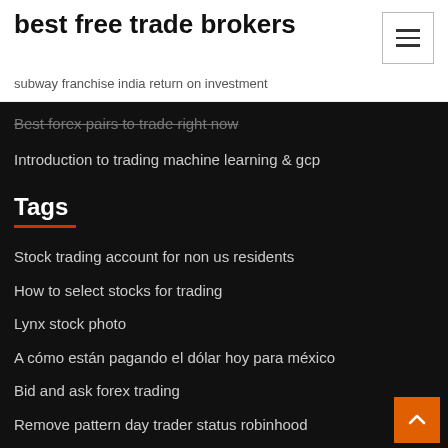best free trade brokers
subway franchise india return on investment
Best forex pairs to trade right now
Introduction to trading machine learning & gcp
Tags
Stock trading account for non us residents
How to select stocks for trading
Lynx stock photo
A cómo están pagando el dólar hoy para méxico
Bid and ask forex trading
Remove pattern day trader status robinhood